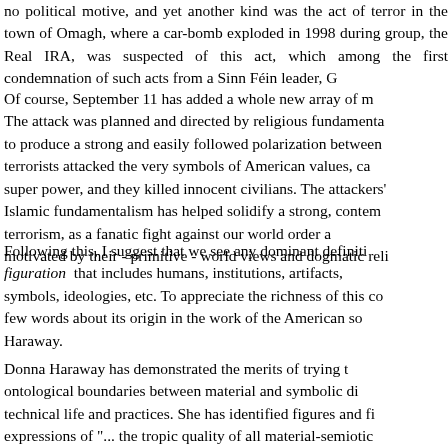no political motive, and yet another kind was the act of terror in the town of Omagh, where a car-bomb exploded in 1998 during a parade. A group, the Real IRA, was suspected of this act, which among other things the first condemnation of such acts from a Sinn Féin leader, G
Of course, September 11 has added a whole new array of meanings. The attack was planned and directed by religious fundamentalists, to produce a strong and easily followed polarization between... terrorists attacked the very symbols of American values, cap... super power, and they killed innocent civilians. The attackers'... Islamic fundamentalism has helped solidify a strong, contem... terrorism, as a fanatic fight against our world order an... motivated by their - primitive - world views and dogmatic reli...
Following this, I suggest that we see any dominant definiti... figuration that includes humans, institutions, artifacts, ... symbols, ideologies, etc. To appreciate the richness of this con... few words about its origin in the work of the American so... Haraway.
Donna Haraway has demonstrated the merits of trying t... ontological boundaries between material and symbolic di... technical life and practices. She has identified figures and fi... expressions of "... the tropic quality of all material-semiotic ... in technoscience" (Haraway 1997, p 11). By that she wishe... figuration is not just a figurative ornamentation of literal...